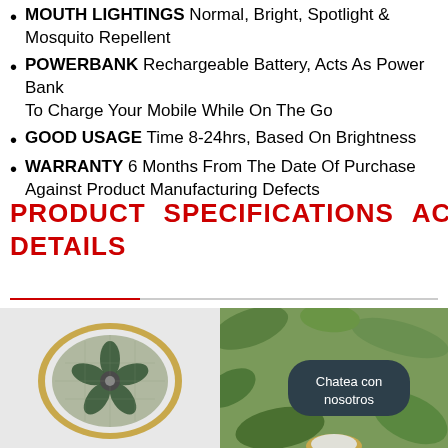MOUTH LIGHTINGS Normal, Bright, Spotlight & Mosquito Repellent
POWERBANK Rechargeable Battery, Acts As Power Bank To Charge Your Mobile While On The Go
GOOD USAGE Time 8-24hrs, Based On Brightness
WARRANTY 6 Months From The Date Of Purchase Against Product Manufacturing Defects
PRODUCT    SPECIFICATIONS    ACCESSORIES DETAILS
[Figure (photo): Top view of a portable fan/lantern device with gold rim and green center fan, on white background]
[Figure (photo): Photo of similar device outdoors with green foliage background, with dark rounded chat button overlay reading Chatea con nosotros]